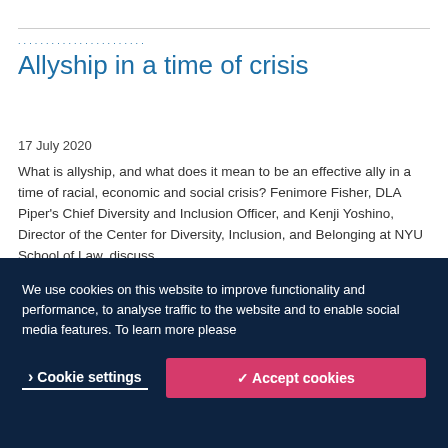Allyship in a time of crisis
17 July 2020
What is allyship, and what does it mean to be an effective ally in a time of racial, economic and social crisis? Fenimore Fisher, DLA Piper's Chief Diversity and Inclusion Officer, and Kenji Yoshino, Director of the Center for Diversity, Inclusion, and Belonging at NYU School of Law, discuss.
[Figure (screenshot): SoundCloud embedded audio player showing DLA Piper podcast titled 'Allyship i...' with play button, download, and share controls]
We use cookies on this website to improve functionality and performance, to analyse traffic to the website and to enable social media features. To learn more please